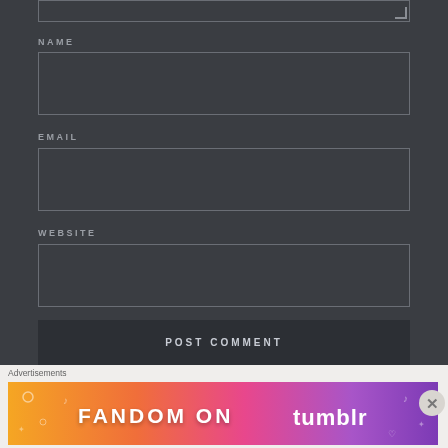[Figure (screenshot): Top portion of a comment form textarea box with resize handle, partially cut off at top]
NAME
[Figure (screenshot): Empty text input box for NAME field]
EMAIL
[Figure (screenshot): Empty text input box for EMAIL field]
WEBSITE
[Figure (screenshot): Empty text input box for WEBSITE field]
[Figure (screenshot): POST COMMENT button]
Advertisements
[Figure (illustration): Fandom on Tumblr advertisement banner with colorful orange to purple gradient background and white illustrated icons]